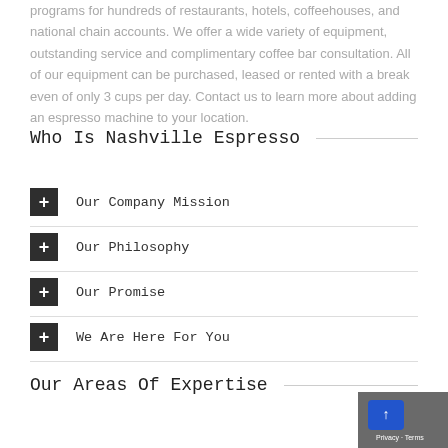programs for hundreds of restaurants, hotels, coffeehouses, and national chain accounts. We offer a wide variety of equipment, outstanding service and complimentary coffee bar consultation. All of our equipment can be purchased, leased or rented with a break even of only 3 cups per day. Contact us to learn more about adding an espresso machine to your location.
Who Is Nashville Espresso
Our Company Mission
Our Philosophy
Our Promise
We Are Here For You
Our Areas Of Expertise